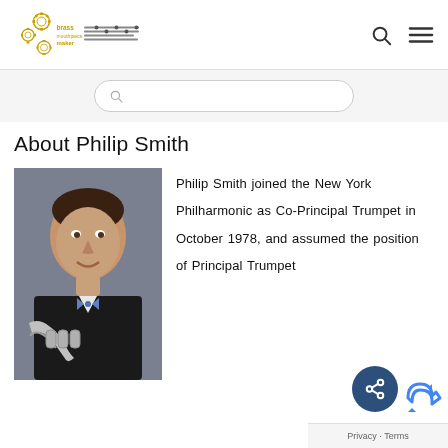Brass mouthpiece maker logo with navigation icons
About Philip Smith
[Figure (photo): Philip Smith holding a trumpet, wearing a tuxedo with bow tie, portrait photo against gray background]
Philip Smith joined the New York Philharmonic as Co-Principal Trumpet in October 1978, and assumed the position of Principal Trumpet